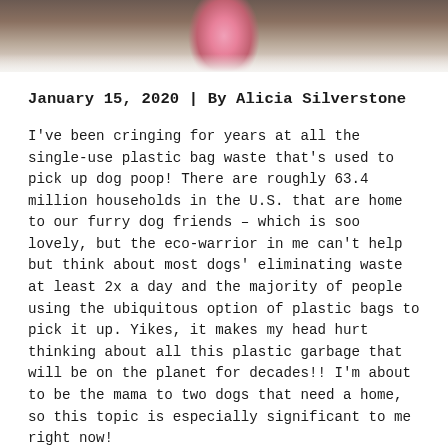[Figure (photo): Top portion of a dog photo, showing what appears to be a dog's ear or snout area in pink/rose color against a blurred brown background]
January 15, 2020 | By Alicia Silverstone
I've been cringing for years at all the single-use plastic bag waste that's used to pick up dog poop! There are roughly 63.4 million households in the U.S. that are home to our furry dog friends – which is soo lovely, but the eco-warrior in me can't help but think about most dogs' eliminating waste at least 2x a day and the majority of people using the ubiquitous option of plastic bags to pick it up. Yikes, it makes my head hurt thinking about all this plastic garbage that will be on the planet for decades!! I'm about to be the mama to two dogs that need a home, so this topic is especially significant to me right now!
In my brain, letting a dog poop out somewhere